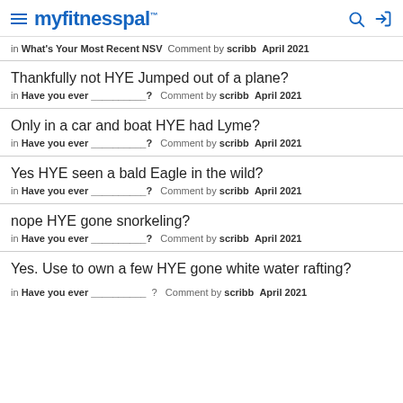myfitnesspal
in What's Your Most Recent NSV  Comment by scribb  April 2021
Thankfully not HYE Jumped out of a plane?
in Have you ever __________?  Comment by scribb  April 2021
Only in a car and boat HYE had Lyme?
in Have you ever __________?  Comment by scribb  April 2021
Yes HYE seen a bald Eagle in the wild?
in Have you ever __________?  Comment by scribb  April 2021
nope HYE gone snorkeling?
in Have you ever __________?  Comment by scribb  April 2021
Yes. Use to own a few HYE gone white water rafting?
in Have you ever __________?  Comment by scribb  April 2021